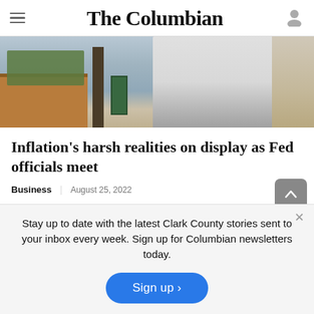The Columbian
[Figure (photo): Outdoor photo showing a person in a white t-shirt standing near a wooden planter box and a pole, with gravel and dry grass in the background.]
Inflation's harsh realities on display as Fed officials meet
Business | August 25, 2022
Stay up to date with the latest Clark County stories sent to your inbox every week. Sign up for Columbian newsletters today.